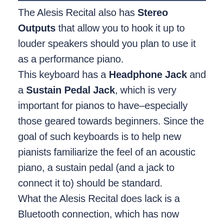The Alesis Recital also has Stereo Outputs that allow you to hook it up to louder speakers should you plan to use it as a performance piano.
This keyboard has a Headphone Jack and a Sustain Pedal Jack, which is very important for pianos to have–especially those geared towards beginners. Since the goal of such keyboards is to help new pianists familiarize the feel of an acoustic piano, a sustain pedal (and a jack to connect it to) should be standard.
What the Alesis Recital does lack is a Bluetooth connection, which has now become a standard for today's electronic keyboards. It would have also been nice to be able to connect your